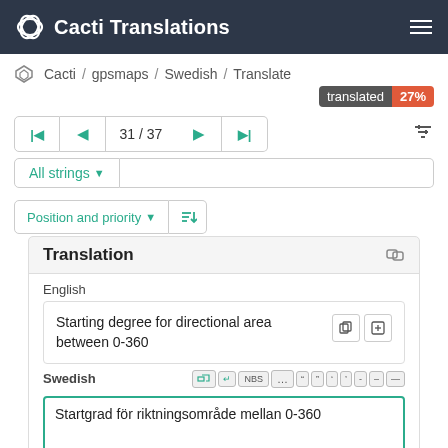Cacti Translations
Cacti / gpsmaps / Swedish / Translate
translated 27%
31 / 37
All strings
Position and priority
Translation
English
Starting degree for directional area between 0-360
Swedish
Startgrad för riktningsområde mellan 0-360